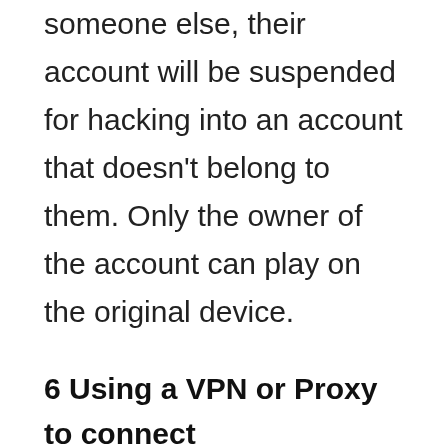someone else, their account will be suspended for hacking into an account that doesn't belong to them. Only the owner of the account can play on the original device.
6 Using a VPN or Proxy to connect
You are not permitted to use any VPNs or proxies when connecting your PS4/PS5 online. Doing so could result in an automatic suspension of your